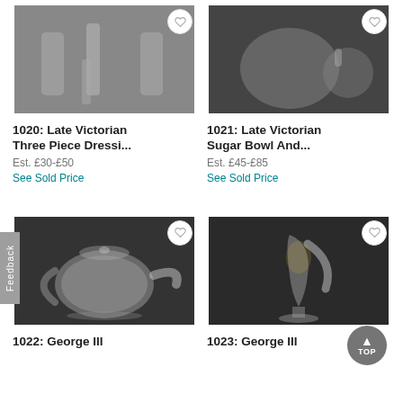[Figure (photo): Lot 1020: Late Victorian silver three-piece dressing set including brushes and accessories on dark background]
[Figure (photo): Lot 1021: Late Victorian silver sugar bowl and creamer with ornate repousse decoration on dark background]
1020: Late Victorian Three Piece Dressi...
Est. £30-£50
See Sold Price
1021: Late Victorian Sugar Bowl And...
Est. £45-£85
See Sold Price
[Figure (photo): Lot 1022: George III silver teapot with curved spout and wooden handle on dark background]
[Figure (photo): Lot 1023: George III silver cream jug or goblet with pedestal base on dark background]
1022: George III
1023: George III